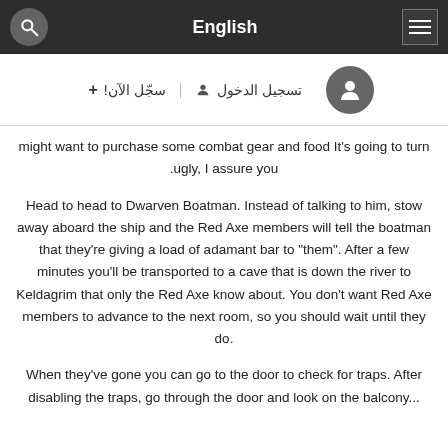English
تسجيل الدخول  + سجّل الآن!
might want to purchase some combat gear and food It's going to turn ugly, I assure you.
Head to head to Dwarven Boatman. Instead of talking to him, stow away aboard the ship and the Red Axe members will tell the boatman that they're giving a load of adamant bar to "them". After a few minutes you'll be transported to a cave that is down the river to Keldagrim that only the Red Axe know about. You don't want Red Axe members to advance to the next room, so you should wait until they do.
When they've gone you can go to the door to check for traps. After disabling the traps, go through the door and look on the balcony...